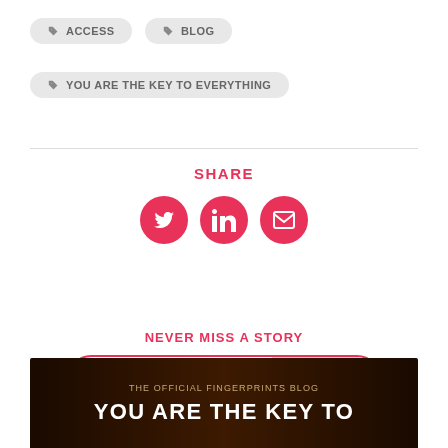ACCESS
BLOG
YOU ARE THE KEY TO EVERYTHING
SHARE
[Figure (infographic): Three pink circular social share buttons: Twitter bird icon, LinkedIn 'in' icon, and envelope/email icon]
NEVER MISS A STORY
[Figure (infographic): Email subscription form with placeholder text 'Email address...' and a SUBSCRIBE button, outlined with a pink rounded border]
THE OFFICIAL FINGERPRINTS BLOG
YOU ARE THE KEY TO